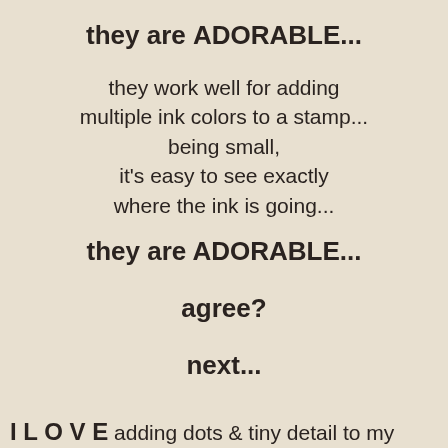they are ADORABLE...
they work well for adding multiple ink colors to a stamp... being small, it's easy to see exactly where the ink is going...
they are ADORABLE...
agree?
next...
I L O V E adding dots & tiny detail to my